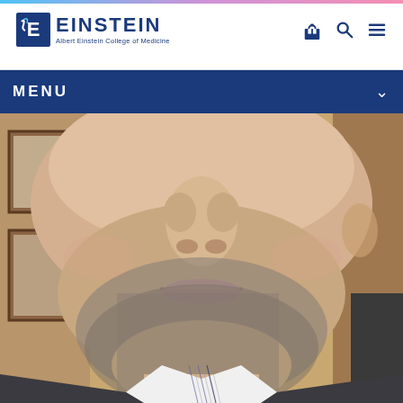[Figure (logo): Albert Einstein College of Medicine logo with stylized 'E' icon and text EINSTEIN, Albert Einstein College of Medicine]
Menu
[Figure (photo): Close-up photograph of a man's face (lower half visible) with light stubble/beard, wearing a striped dress shirt and dark jacket, seated in an office with framed items on wall in background]